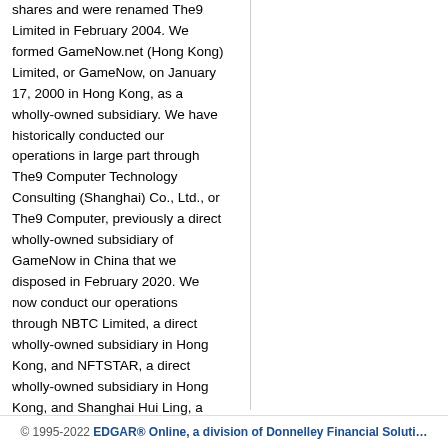shares and were renamed The9 Limited in February 2004. We formed GameNow.net (Hong Kong) Limited, or GameNow, on January 17, 2000 in Hong Kong, as a wholly-owned subsidiary. We have historically conducted our operations in large part through The9 Computer Technology Consulting (Shanghai) Co., Ltd., or The9 Computer, previously a direct wholly-owned subsidiary of GameNow in China that we disposed in February 2020. We now conduct our operations through NBTC Limited, a direct wholly-owned subsidiary in Hong Kong, and NFTSTAR, a direct wholly-owned subsidiary in Hong Kong, and Shanghai Hui Ling, a direct wholly-owned subsidiary of GameNow in China.
© 1995-2022 EDGAR® Online, a division of Donnelley Financial Solutions